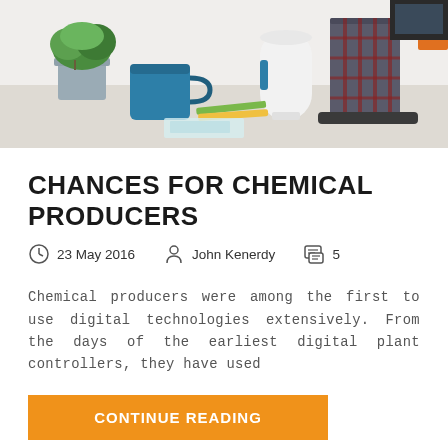[Figure (photo): Desk scene with blue mug, potted plant in metal bucket, white cylindrical device, plaid-covered books/device, pencils and papers on a light wooden surface]
CHANCES FOR CHEMICAL PRODUCERS
23 May 2016   John Kenerdy   5
Chemical producers were among the first to use digital technologies extensively. From the days of the earliest digital plant controllers, they have used
CONTINUE READING